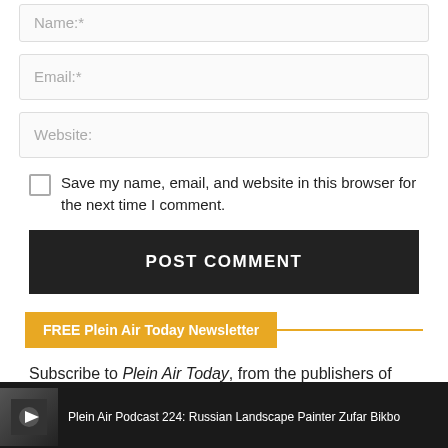Name:*
Email:*
Website:
Save my name, email, and website in this browser for the next time I comment.
POST COMMENT
FREE Plein Air Today Newsletter
Subscribe to Plein Air Today, from the publishers of PleinAir
Plein Air Podcast 224: Russian Landscape Painter Zufar Bikbo